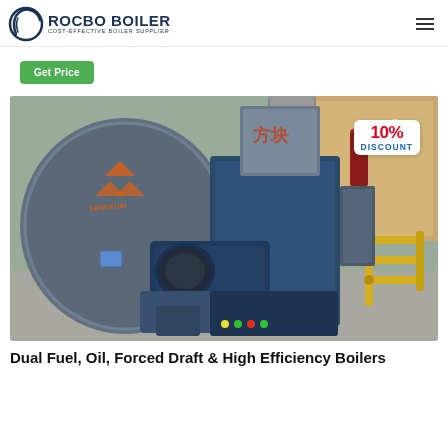ROCBO BOILER — COST-EFFECTIVE BOILER SUPPLIER
Get Price
[Figure (photo): Industrial dual fuel boiler system with blue casing and burner assembly installed in a facility. A 10% DISCOUNT badge is overlaid in the top-right corner of the image. The boiler features a large circular front with orange manufacturer markings (FANGKUAI), cylindrical chimney/stack, blue metal casing, control panel with colored buttons, and yellow gas pipe connections on the right side.]
Dual Fuel, Oil, Forced Draft & High Efficiency Boilers